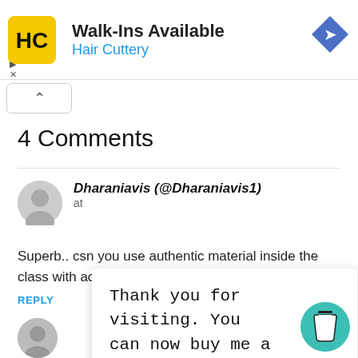[Figure (logo): Hair Cuttery ad banner with HC logo, Walk-Ins Available text, and navigation arrow icon]
4 Comments
Dharaniavis (@Dharaniavis1) at
Superb.. csn you use authentic material inside the class with act
REPLY
Thank you for visiting. You can now buy me a coffee!